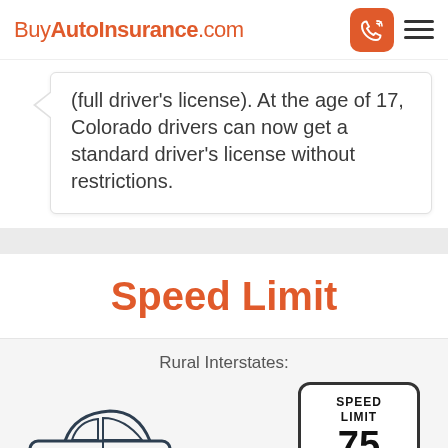BuyAutoInsurance.com
(full driver's license). At the age of 17, Colorado drivers can now get a standard driver's license without restrictions.
Speed Limit
Rural Interstates:
[Figure (illustration): Car outline icon (sedan silhouette in dark outline style)]
[Figure (other): Speed limit sign showing SPEED LIMIT 75]